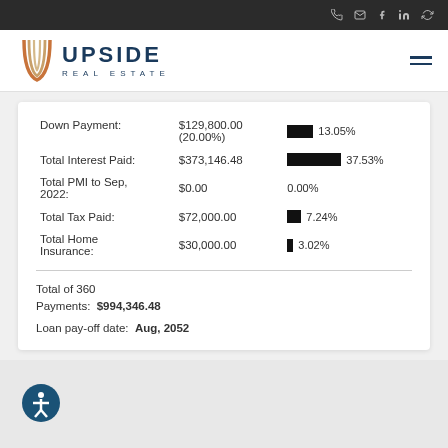Upside Real Estate — navigation bar with phone, email, facebook, linkedin, and refresh icons
[Figure (logo): Upside Real Estate logo with stylized U letterform in orange/gold and dark blue UPSIDE REAL ESTATE wordmark]
| Label | Amount | Percentage |
| --- | --- | --- |
| Down Payment: | $129,800.00 (20.00%) | 13.05% |
| Total Interest Paid: | $373,146.48 | 37.53% |
| Total PMI to Sep, 2022: | $0.00 | 0.00% |
| Total Tax Paid: | $72,000.00 | 7.24% |
| Total Home Insurance: | $30,000.00 | 3.02% |
Total of 360 Payments: $994,346.48
Loan pay-off date: Aug, 2052